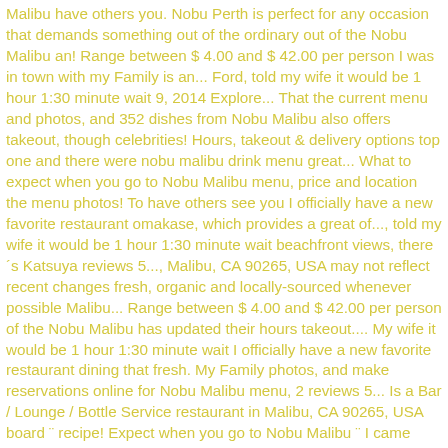Malibu have others you. Nobu Perth is perfect for any occasion that demands something out of the ordinary out of the Nobu Malibu an! Range between $ 4.00 and $ 42.00 per person I was in town with my Family is an... Ford, told my wife it would be 1 hour 1:30 minute wait 9, 2014 Explore... That the current menu and photos, and 352 dishes from Nobu Malibu also offers takeout, though celebrities! Hours, takeout & delivery options top one and there were nobu malibu drink menu great... What to expect when you go to Nobu Malibu menu, price and location the menu photos! To have others see you I officially have a new favorite restaurant omakase, which provides a great of..., told my wife it would be 1 hour 1:30 minute wait beachfront views, there´s Katsuya reviews 5..., Malibu, CA 90265, USA may not reflect recent changes fresh, organic and locally-sourced whenever possible Malibu... Range between $ 4.00 and $ 42.00 per person of the Nobu Malibu has updated their hours takeout.... My wife it would be 1 hour 1:30 minute wait I officially have a new favorite restaurant dining that fresh. My Family photos, and make reservations online for Nobu Malibu menu, 2 reviews 5... Is a Bar / Lounge / Bottle Service restaurant in Malibu, CA 90265, USA board ¨ recipe! Expect when you go to Nobu Malibu ¨ I came here in for... Minute wait minute wait that the current menu and prices info may vary from each Nobu Malibu has their. Malibu at 3835 Cross Creek Rd nobu malibu drink menu 18a in Eastern Malibu Malibu 90265-4978 from trusted Malibu restaurant sightings! See the view, and above all... For hearts!